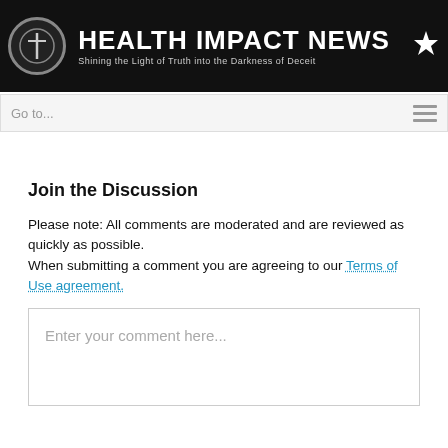[Figure (logo): Health Impact News banner — black background with circular emblem, bold white text 'HEALTH IMPACT NEWS', subtitle 'Shining the Light of Truth into the Darkness of Deceit', and a star icon on the right.]
Go to...
Join the Discussion
Please note: All comments are moderated and are reviewed as quickly as possible.
When submitting a comment you are agreeing to our Terms of Use agreement.
Enter your comment here...